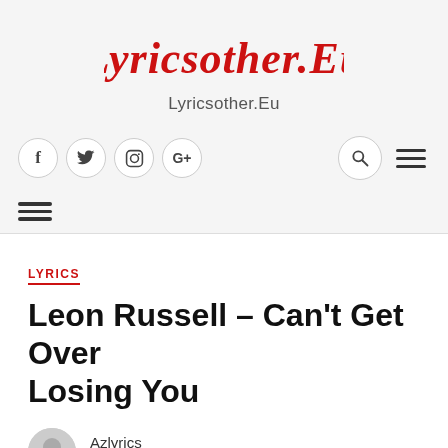[Figure (logo): Lyricsother.Eu logo in red cursive script]
Lyricsother.Eu
[Figure (infographic): Navigation bar with social icons (f, twitter, Instagram, G+) and search/hamburger menu icons]
[Figure (infographic): Hamburger menu icon (three horizontal lines)]
LYRICS
Leon Russell – Can't Get Over Losing You
Azlyrics
November 14, 2016  -  2 Mins